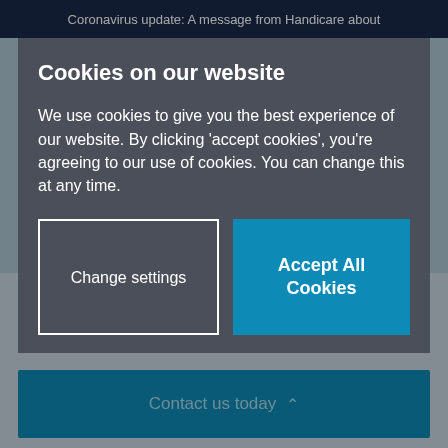Coronavirus update: A message from Handicare about
Cookies on our website
We use cookies to give you the best experience of our website. By clicking ‘accept cookies’, you’re agreeing to our use of cookies. You can change this at any time.
Change settings
Accept All Cookies
PARTNER
Contact us today ˆ